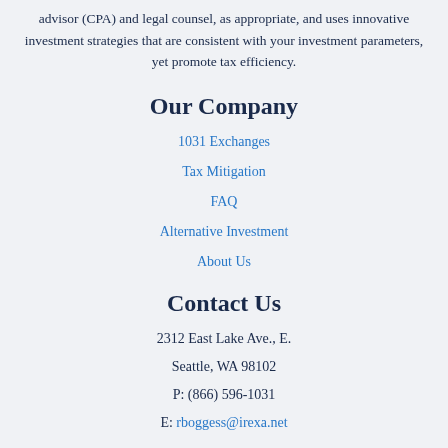advisor (CPA) and legal counsel, as appropriate, and uses innovative investment strategies that are consistent with your investment parameters, yet promote tax efficiency.
Our Company
1031 Exchanges
Tax Mitigation
FAQ
Alternative Investment
About Us
Contact Us
2312 East Lake Ave., E.
Seattle, WA 98102
P: (866) 596-1031
E: rboggess@irexa.net